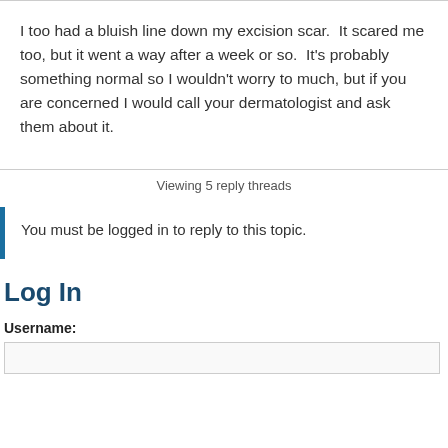I too had a bluish line down my excision scar.  It scared me too, but it went a way after a week or so.  It's probably something normal so I wouldn't worry to much, but if you are concerned I would call your dermatologist and ask them about it.
Viewing 5 reply threads
You must be logged in to reply to this topic.
Log In
Username: